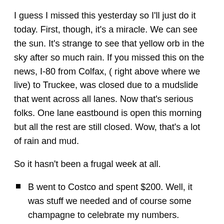I guess I missed this yesterday so I'll just do it today. First, though, it's a miracle. We can see the sun. It's strange to see that yellow orb in the sky after so much rain. If you missed this on the news, I-80 from Colfax, ( right above where we live) to Truckee, was closed due to a mudslide that went across all lanes. Now that's serious folks. One lane eastbound is open this morning but all the rest are still closed. Wow, that's a lot of rain and mud.
So it hasn't been a frugal week at all.
B went to Costco and spent $200. Well, it was stuff we needed and of course some champagne to celebrate my numbers.
I went to Grocery Outlet and spent $70 on groceries. so not frugal
We've had all space heaters off since though, rainy, it